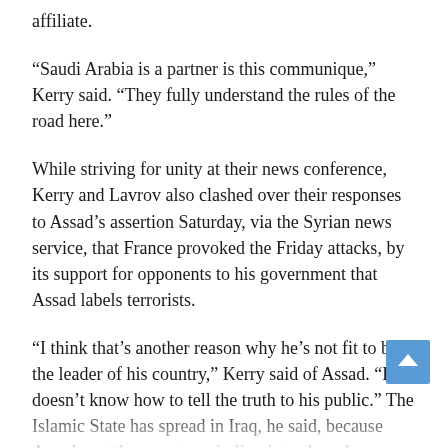affiliate.
“Saudi Arabia is a partner is this communique,” Kerry said. “They fully understand the rules of the road here.”
While striving for unity at their news conference, Kerry and Lavrov also clashed over their responses to Assad’s assertion Saturday, via the Syrian news service, that France provoked the Friday attacks, by its support for opponents to his government that Assad labels terrorists.
“I think that’s another reason why he’s not fit to be the leader of his country,” Kerry said of Assad. “He doesn’t know how to tell the truth to his public.” The Islamic State has spread in Iraq, he said, because Assad sent the country spiraling into chaos by attacking legitimate protesters to his rule.
“Assad has cut his own deal with Daesh,” Kerry said, using an